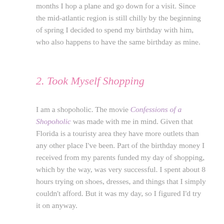months I hop a plane and go down for a visit. Since the mid-atlantic region is still chilly by the beginning of spring I decided to spend my birthday with him, who also happens to have the same birthday as mine.
2. Took Myself Shopping
I am a shopoholic. The movie Confessions of a Shopoholic was made with me in mind. Given that Florida is a touristy area they have more outlets than any other place I've been. Part of the birthday money I received from my parents funded my day of shopping, which by the way, was very successful. I spent about 8 hours trying on shoes, dresses, and things that I simply couldn't afford. But it was my day, so I figured I'd try it on anyway.